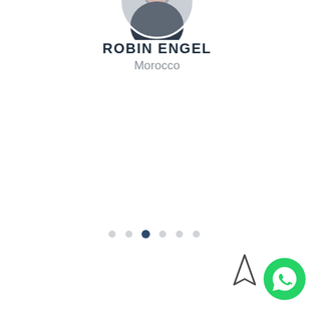[Figure (photo): Circular profile photo of a smiling woman with dark hair, partially cropped at top]
ROBIN ENGEL
Morocco
[Figure (infographic): Pagination dots — six dots in a row, the third one filled dark (active), others light grey]
[Figure (other): Navigation arrow icon (compass/direction arrow) in dark grey]
[Figure (other): WhatsApp green circular button icon in bottom right corner]